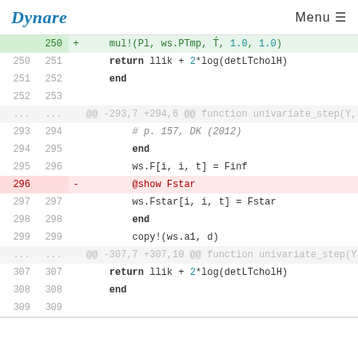Dynare   Menu
Code diff view showing lines 250-309 of a Julia source file related to Dynare univariate_step function. Shows removal of @show Fstar line (line 296 deleted).